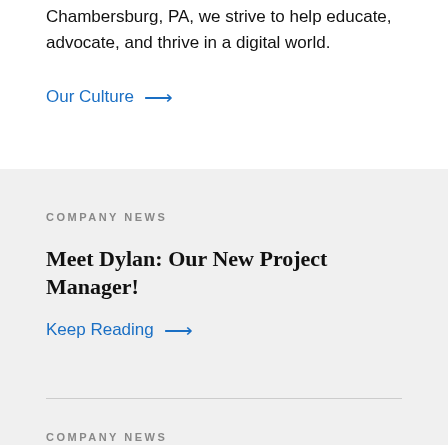Chambersburg, PA, we strive to help educate, advocate, and thrive in a digital world.
Our Culture →
COMPANY NEWS
Meet Dylan: Our New Project Manager!
Keep Reading →
COMPANY NEWS